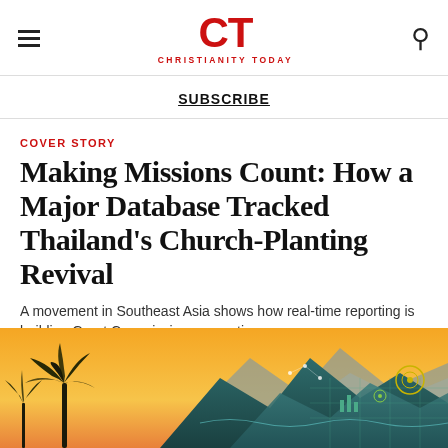CT / CHRISTIANITY TODAY
SUBSCRIBE
COVER STORY
Making Missions Count: How a Major Database Tracked Thailand's Church-Planting Revival
A movement in Southeast Asia shows how real-time reporting is building Great Commission connections.
KATE SHELLNUTT | MARCH 15, 2019
[Figure (illustration): Illustrated cover image showing a tropical sunset landscape with palm trees silhouette on the left and stylized teal mountains with data/network graphic overlay on the right, set against an orange-yellow sky.]